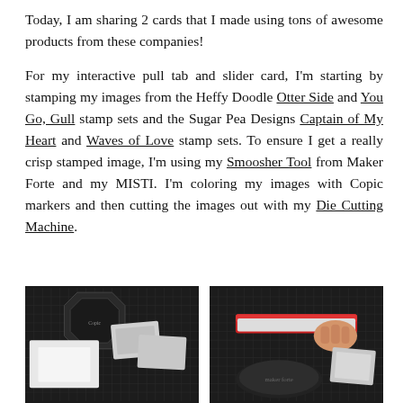Today, I am sharing 2 cards that I made using tons of awesome products from these companies!
For my interactive pull tab and slider card, I'm starting by stamping my images from the Heffy Doodle Otter Side and You Go, Gull stamp sets and the Sugar Pea Designs Captain of My Heart and Waves of Love stamp sets. To ensure I get a really crisp stamped image, I'm using my Smoosher Tool from Maker Forte and my MISTI. I'm coloring my images with Copic markers and then cutting the images out with my Die Cutting Machine.
[Figure (photo): Photo of crafting supplies on a cutting mat including stamp sets, ink pad, and cards]
[Figure (photo): Photo of a hand using a stamp tool on a cutting mat with stamp sets nearby]